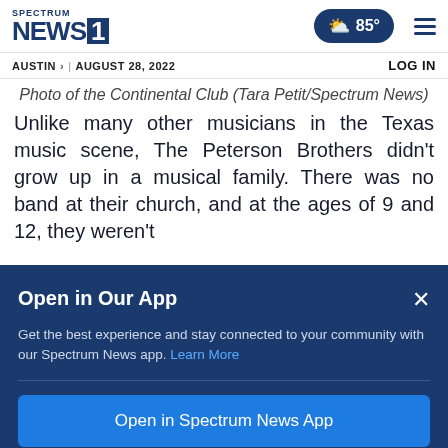Spectrum News 1 | AUSTIN > | AUGUST 28, 2022 | LOG IN | 85°
Photo of the Continental Club (Tara Petit/Spectrum News)
Unlike many other musicians in the Texas music scene, The Peterson Brothers didn't grow up in a musical family. There was no band at their church, and at the ages of 9 and 12, they weren't
Open in Our App
Get the best experience and stay connected to your community with our Spectrum News app. Learn More
Open in Spectrum News App
Continue in Browser